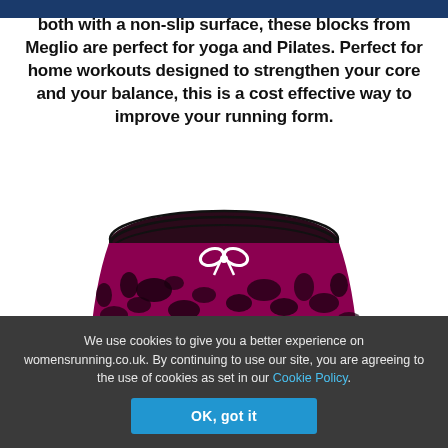both with a non-slip surface, these blocks from Meglio are perfect for yoga and Pilates. Perfect for home workouts designed to strengthen your core and your balance, this is a cost effective way to improve your running form.
[Figure (photo): Pink/magenta leopard-print running shorts with black elastic waistband and white drawstring bow tie.]
We use cookies to give you a better experience on womensrunning.co.uk. By continuing to use our site, you are agreeing to the use of cookies as set in our Cookie Policy.
OK, got it